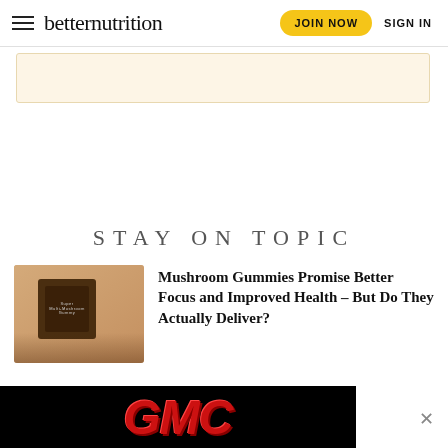betternutrition — JOIN NOW  SIGN IN
[Figure (other): Light beige advertisement placeholder box]
STAY ON TOPIC
[Figure (photo): Product photo showing mushroom supplement gummies bag on tan background]
Mushroom Gummies Promise Better Focus and Improved Health – But Do They Actually Deliver?
[Figure (logo): GMC logo advertisement banner in red on black background with X close button]